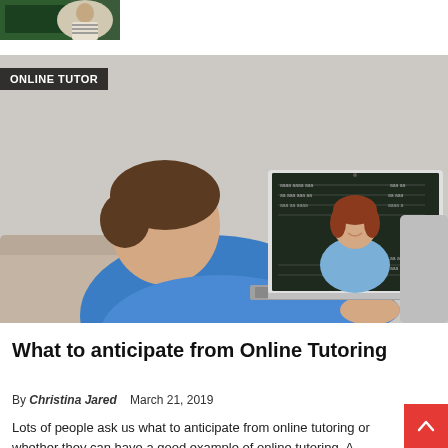[Figure (photo): Small thumbnail image at top left showing a person near a chalkboard with stripes pattern]
[Figure (photo): Main large photo of a boy in a blue shirt sitting on a couch using a laptop, with a female online tutor visible on the laptop screen standing in front of a chalkboard with writing on it. Label 'ONLINE TUTOR' overlaid on the image.]
What to anticipate from Online Tutoring
By Christina Jared   March 21, 2019
Lots of people ask us what to anticipate from online tutoring or whether they can have a good example of online tutoring. A particular illustration of online tutoring is difficult to explain, bu